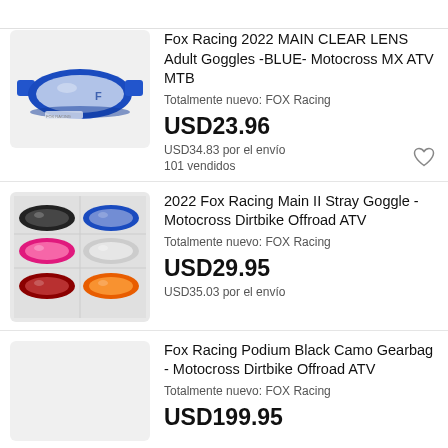[Figure (photo): Blue Fox Racing motocross goggle product photo on light gray background]
Fox Racing 2022 MAIN CLEAR LENS Adult Goggles -BLUE- Motocross MX ATV MTB
Totalmente nuevo: FOX Racing
USD23.96
USD34.83 por el envío
101 vendidos
[Figure (photo): Multiple Fox Racing goggles in various colors (black, blue, pink, white, dark red, orange) arranged in a grid]
2022 Fox Racing Main II Stray Goggle - Motocross Dirtbike Offroad ATV
Totalmente nuevo: FOX Racing
USD29.95
USD35.03 por el envío
[Figure (photo): Light gray background placeholder for Fox Racing Podium Black Camo Gearbag product photo]
Fox Racing Podium Black Camo Gearbag - Motocross Dirtbike Offroad ATV
Totalmente nuevo: FOX Racing
USD199.95